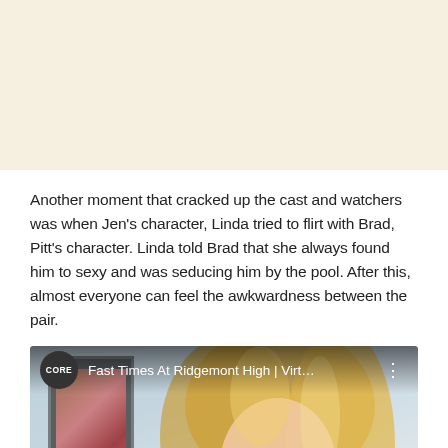[Figure (other): Blank cream/beige background banner area at top of page]
Another moment that cracked up the cast and watchers was when Jen's character, Linda tried to flirt with Brad, Pitt's character. Linda told Brad that she always found him to sexy and was seducing him by the pool. After this, almost everyone can feel the awkwardness between the pair.
[Figure (screenshot): YouTube video embed showing 'Fast Times At Ridgemont High | Virt...' from CORE channel, with a blonde woman visible in the video thumbnail and a YouTube play button at the bottom]